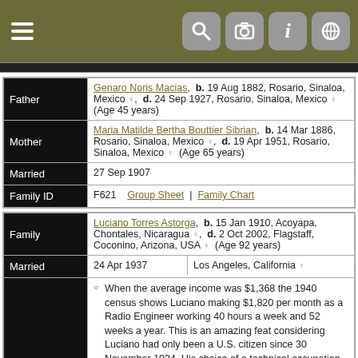[Figure (screenshot): Top navigation bar with olive/khaki background, hamburger menu on left, and four icon buttons (search, camera, info, globe) on right]
| Father | Genaro Noris Macias, b. 19 Aug 1882, Rosario, Sinaloa, Mexico, d. 24 Sep 1927, Rosario, Sinaloa, Mexico (Age 45 years) |
| Mother | Maria Matilde Bertha Bouttier Sibrian, b. 14 Mar 1886, Rosario, Sinaloa, Mexico, d. 19 Apr 1951, Rosario, Sinaloa, Mexico (Age 65 years) |
| Married | 27 Sep 1907 |
| Family ID | F621   Group Sheet  |  Family Chart |
| Family | Luciano Torres Astorga, b. 15 Jan 1910, Acoyapa, Chontales, Nicaragua, d. 2 Oct 2002, Flagstaff, Coconino, Arizona, USA (Age 92 years) |
| Married | 24 Apr 1937  |  Los Angeles, California |
|  | When the average income was $1,368 the 1940 census shows Luciano making $1,820 per month as a Radio Engineer working 40 hours a week and 52 weeks a year. This is an amazing feat considering Luciano had only been a U.S. citizen since 30 November 1934. His choice of a technical occupation leaves him and his family virtually unaffected by the Great Depression (1930's - 1940's). |